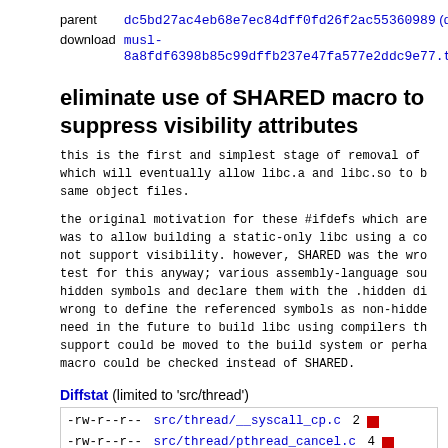| label | value |
| --- | --- |
| parent | dc5bd27ac4eb68e7ec84dff0fd26f2ac55360989 (diff) |
| download | musl-8a8fdf6398b85c99dffb237e47fa577e2ddc9e77.tar.gz |
eliminate use of SHARED macro to suppress visibility attributes
this is the first and simplest stage of removal of which will eventually allow libc.a and libc.so to be same object files.
the original motivation for these #ifdefs which are was to allow building a static-only libc using a co not support visibility. however, SHARED was the wro test for this anyway; various assembly-language sou hidden symbols and declare them with the .hidden di wrong to define the referenced symbols as non-hidde need in the future to build libc using compilers th support could be moved to the build system or perha macro could be checked instead of SHARED.
Diffstat (limited to 'src/thread')
| permissions | file | changes | bar |
| --- | --- | --- | --- |
| -rw-r--r-- | src/thread/__syscall_cp.c | 2 |  |
| -rw-r--r-- | src/thread/pthread_cancel.c | 4 |  |
2 files changed, 0 insertions, 6 deletions
diff --git a/src/thread/__syscall_cp.c b/src/thread